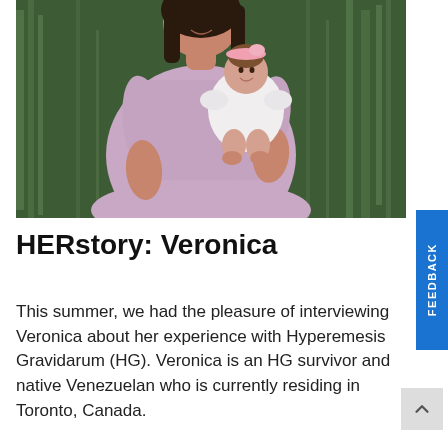[Figure (photo): A woman in a lavender/mauve dress holding a baby dressed in white with a pink headband, standing outdoors in front of tall green grass or plants.]
HERstory: Veronica
This summer, we had the pleasure of interviewing Veronica about her experience with Hyperemesis Gravidarum (HG). Veronica is an HG survivor and native Venezuelan who is currently residing in Toronto, Canada. Veronica is the first...